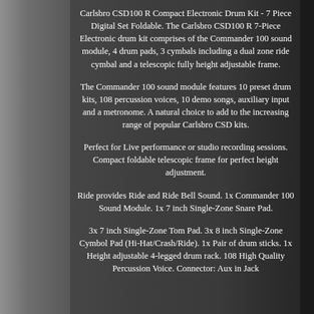Carlsbro CSD100 R Compact Electronic Drum Kit - 7 Piece Digital Set Foldable. The Carlsbro CSD100 R 7-Piece Electronic drum kit comprises of the Commander 100 sound module, 4 drum pads, 3 cymbals including a dual zone ride cymbal and a telescopic fully height adjustable frame.
The Commander 100 sound module features 10 preset drum kits, 108 percussion voices, 10 demo songs, auxiliary input and a metronome. A natural choice to add to the increasing range of popular Carlsbro CSD kits.
Perfect for Live performance or studio recording sessions. Compact foldable telescopic frame for perfect height adjustment.
Ride provides Ride and Ride Bell Sound. 1x Commander 100 Sound Module. 1x 7 inch Single-Zone Snare Pad.
3x 7 inch Single-Zone Tom Pad. 3x 8 inch Single-Zone Cymbol Pad (Hi-Hat/Crash/Ride). 1x Pair of drum sticks. 1x Height adjustable 4-legged drum rack. 108 High Quality Percussion Voice. Connector: Aux in Jack